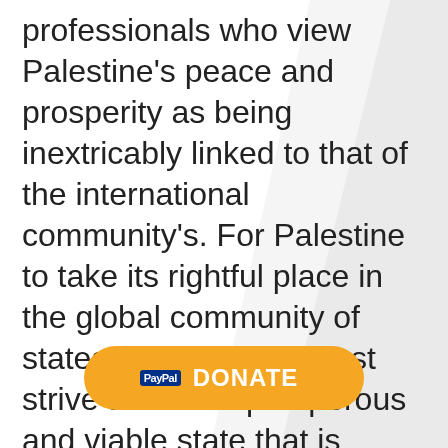professionals who view Palestine's peace and prosperity as being inextricably linked to that of the international community's. For Palestine to take its rightful place in the global community of states, Palestinians must strive to build a prosperous and viable state that is based upon the firm pillars of a respect for the rule of law and a market-based economy. As a think-tank, AMF is engaged in setting strategic directions through research, and advocacy
[Figure (other): Orange PayPal DONATE button overlay partially obscuring text]